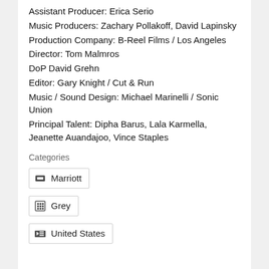Assistant Producer: Erica Serio
Music Producers: Zachary Pollakoff, David Lapinsky
Production Company: B-Reel Films / Los Angeles
Director: Tom Malmros
DoP David Grehn
Editor: Gary Knight / Cut & Run
Music / Sound Design: Michael Marinelli / Sonic Union
Principal Talent: Dipha Barus, Lala Karmella, Jeanette Auandajoo, Vince Staples
Categories
Marriott
Grey
United States